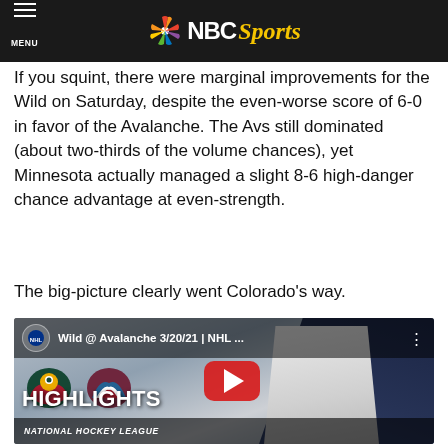MENU | NBC Sports
If you squint, there were marginal improvements for the Wild on Saturday, despite the even-worse score of 6-0 in favor of the Avalanche. The Avs still dominated (about two-thirds of the volume chances), yet Minnesota actually managed a slight 8-6 high-danger chance advantage at even-strength.
The big-picture clearly went Colorado’s way.
[Figure (screenshot): YouTube video embed thumbnail for 'Wild @ Avalanche 3/20/21 | NHL...' showing two hockey players battling on the ice with HIGHLIGHTS text and a red YouTube play button in the center. Shows NHL team logos for the Minnesota Wild and Colorado Avalanche. Bottom left shows 'NATIONAL HOCKEY LEAGUE' text.]